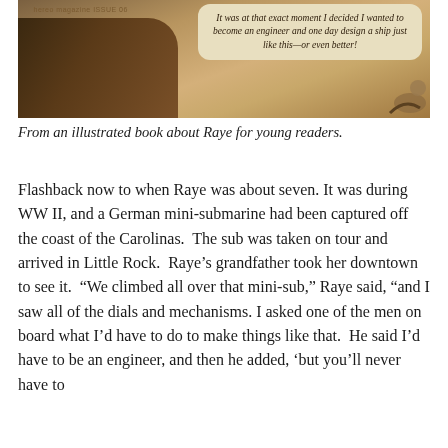[Figure (illustration): Illustrated image from a children's book about Raye, showing a dark figure and a speech bubble reading: 'It was at that exact moment I decided I wanted to become an engineer and one day design a ship just like this—or even better!' Magazine label visible in upper left.]
From an illustrated book about Raye for young readers.
Flashback now to when Raye was about seven. It was during WW II, and a German mini-submarine had been captured off the coast of the Carolinas.  The sub was taken on tour and arrived in Little Rock.  Raye’s grandfather took her downtown to see it.  “We climbed all over that mini-sub,” Raye said, “and I saw all of the dials and mechanisms. I asked one of the men on board what I’d have to do to make things like that.  He said I’d have to be an engineer, and then he added, ‘but you’ll never have to